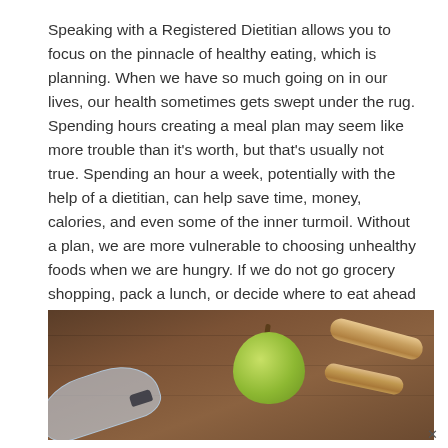Speaking with a Registered Dietitian allows you to focus on the pinnacle of healthy eating, which is planning. When we have so much going on in our lives, our health sometimes gets swept under the rug. Spending hours creating a meal plan may seem like more trouble than it's worth, but that's usually not true. Spending an hour a week, potentially with the help of a dietitian, can help save time, money, calories, and even some of the inner turmoil. Without a plan, we are more vulnerable to choosing unhealthy foods when we are hungry. If we do not go grocery shopping, pack a lunch, or decide where to eat ahead of time, we are more likely to forget about our health goals.
[Figure (photo): Photo of a green apple, a water bottle lying on its side, and two wooden rolling pins or handles on a wooden table surface]